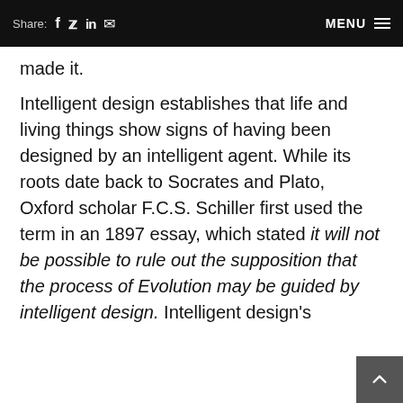Share: f  in  [mail]   MENU ≡
made it.
Intelligent design establishes that life and living things show signs of having been designed by an intelligent agent. While its roots date back to Socrates and Plato, Oxford scholar F.C.S. Schiller first used the term in an 1897 essay, which stated it will not be possible to rule out the supposition that the process of Evolution may be guided by intelligent design. Intelligent design's